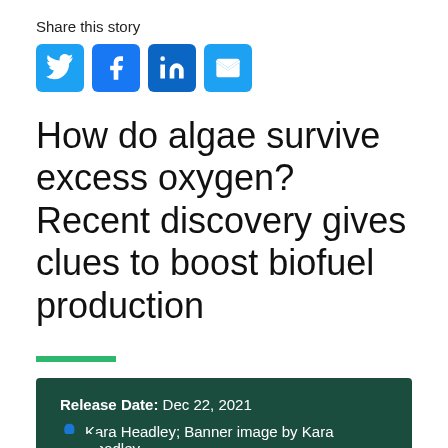Share this story
[Figure (other): Social media sharing icons: Twitter, Facebook, LinkedIn, Email]
How do algae survive excess oxygen? Recent discovery gives clues to boost biofuel production
Release Date: Dec 22, 2021
Kara Headley; Banner image by Kara Headley